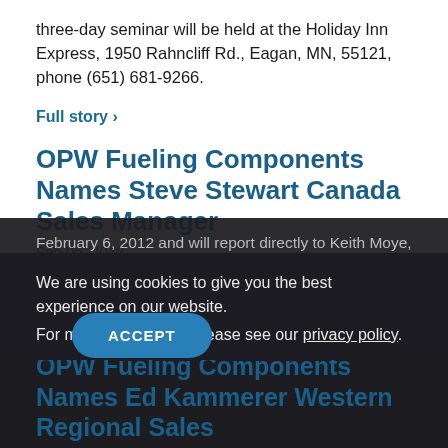three-day seminar will be held at the Holiday Inn Express, 1950 Rahncliff Rd., Eagan, MN, 55121, phone (651) 681-9266.
Full story ›
OPW Fueling Components Names Steve Stewart Canada Sales Manager
Feb 06, 2012
Mr. Stewart will assume his new responsibilities effective
February 6, 2012 and will report directly to Keith Moye, OPW...
Full story ›
We are using cookies to give you the best experience on our website.
For more information, please see our privacy policy.
ACCEPT
OPW Fueling Components Names Ed Kammerer Western Regional Sales